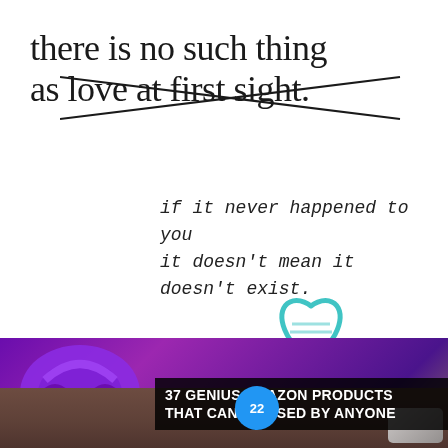[Figure (illustration): Quote image with crossed-out text: 'there is no such thing as love at first sight' with an X cross drawn over 'love at first sight', and handwritten-style text below reading 'if it never happened to you it doesn't mean it doesn't exist.']
[Figure (screenshot): Social media buttons: Pinterest (red P icon), Facebook (blue f icon), green 'helpful' button, red 'non helpful' button, teal heart icon overlay, and an advertisement banner showing purple headphones with text '37 GENIUS AMAZON PRODUCTS THAT CAN BE USED BY ANYONE', a CLOSE button, and an X close icon.]